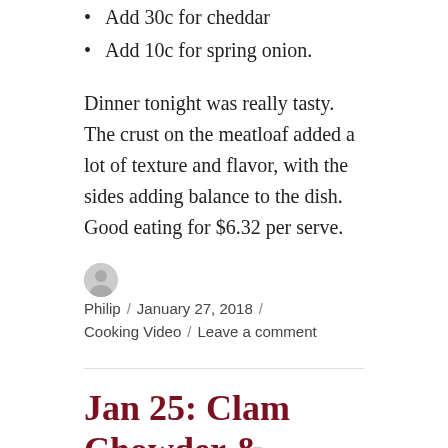Add 30c for cheddar
Add 10c for spring onion.
Dinner tonight was really tasty. The crust on the meatloaf added a lot of texture and flavor, with the sides adding balance to the dish. Good eating for $6.32 per serve.
Philip / January 27, 2018 / Cooking Video / Leave a comment
Jan 25: Clam Chowder & Rustic Roll; Pork Chops with Baked Kabocha Squash and Green S…